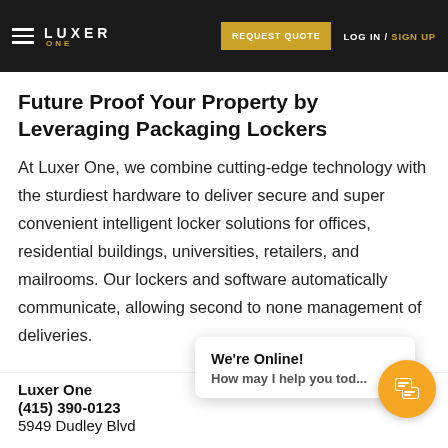cool and fresh until customers are ready to pick them up.
[Figure (screenshot): Luxer One navigation bar with hamburger menu, LUXER ONE logo, REQUEST QUOTE button, and LOGIN / SIGN UP links on dark background]
Future Proof Your Property by Leveraging Packaging Lockers
At Luxer One, we combine cutting-edge technology with the sturdiest hardware to deliver secure and super convenient intelligent locker solutions for offices, residential buildings, universities, retailers, and mailrooms. Our lockers and software automatically communicate, allowing second to none management of deliveries.
Luxer One
(415) 390-0123
5949 Dudley Blvd
[Figure (screenshot): Live chat widget showing 'We're Online! How may I help you tod...' with orange chat button]